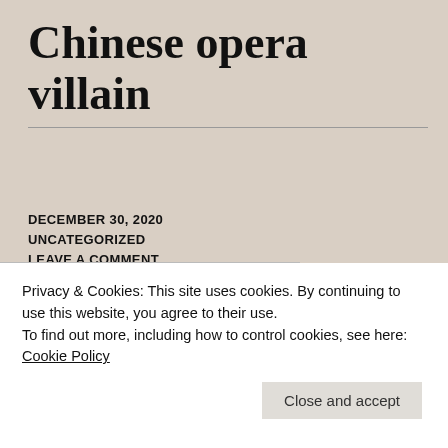Chinese opera villain
DECEMBER 30, 2020
UNCATEGORIZED
LEAVE A COMMENT
ANIMAL TO HUMAN TRANSMISSION
C-19
CCP
CHINA DIPLOMACY
CHINA PR
CHINA RESPONSE CORONAVIRUS
Privacy & Cookies: This site uses cookies. By continuing to use this website, you agree to their use.
To find out more, including how to control cookies, see here:
Cookie Policy
Close and accept